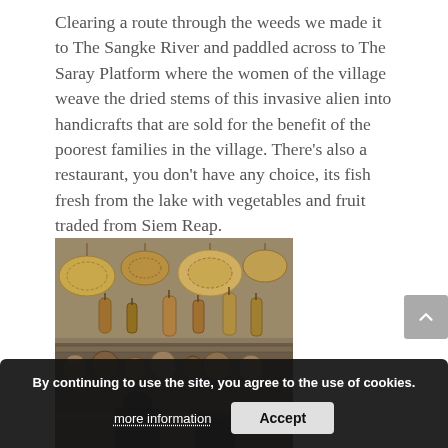Clearing a route through the weeds we made it to The Sangke River and paddled across to The Saray Platform where the women of the village weave the dried stems of this invasive alien into handicrafts that are sold for the benefit of the poorest families in the village. There's also a restaurant, you don't have any choice, its fish fresh from the lake with vegetables and fruit traded from Siem Reap.
[Figure (photo): A shop or stall interior showing woven handicrafts — baskets, hats, and other woven items made from dried water hyacinth stems — hanging from the ceiling and displayed on shelves, with people visible in the lower portion of the image.]
By continuing to use the site, you agree to the use of cookies.
more information    Accept